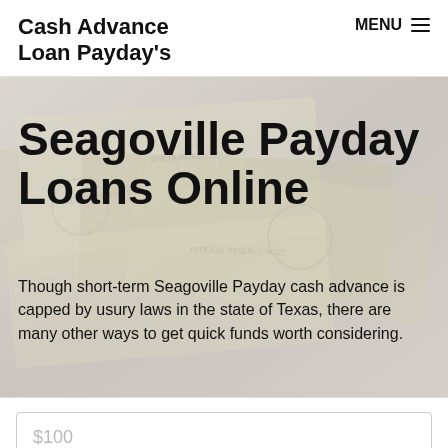Cash Advance Loan Payday's
Seagoville Payday Loans Online
Though short-term Seagoville Payday cash advance is capped by usury laws in the state of Texas, there are many other ways to get quick funds worth considering.
$100